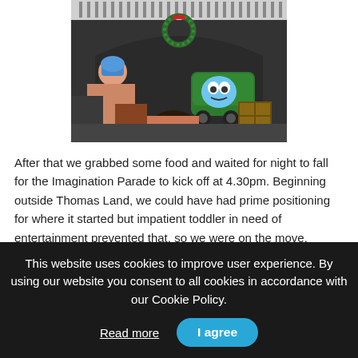[Figure (photo): Photo of children looking at a Thomas & Friends green train engine (Percy) on a platform, with a Christmas wreath above an arched entrance of a building, taken at what appears to be a theme park.]
After that we grabbed some food and waited for night to fall for the Imagination Parade to kick off at 4.30pm. Beginning outside Thomas Land, we could have had prime positioning for where it started but impatient toddler in need of entertainment prevented that, so we were on the move. Unsure where exactly the parade would end – a member of staff was none the wiser either – we managed to find what we thought was a
This website uses cookies to improve user experience. By using our website you consent to all cookies in accordance with our Cookie Policy.
Read more
I agree